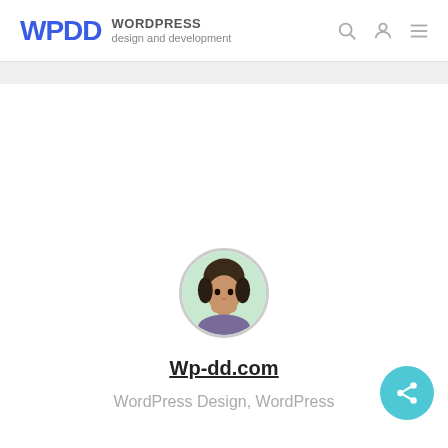WPDD WORDPRESS design and development
[Figure (photo): Circular avatar photo of a person with dark hair, against a light background]
Wp-dd.com
WordPress Design, WordPress